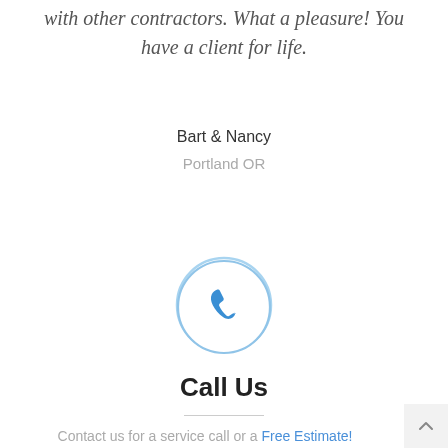with other contractors. What a pleasure! You have a client for life.
Bart & Nancy
Portland OR
[Figure (illustration): A circular icon with a phone/telephone handset symbol in blue, outlined with a light blue circle border.]
Call Us
Contact us for a service call or a Free Estimate!